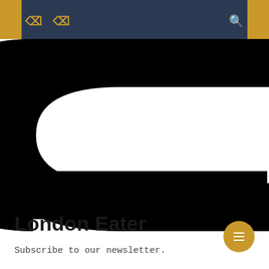Navigation bar with icons
[Figure (logo): Large stylized letter C / Eater logo in black on white background, showing a bold geometric C shape with a rectangular notch cut into the right side]
London Eater
Subscribe to our newsletter.